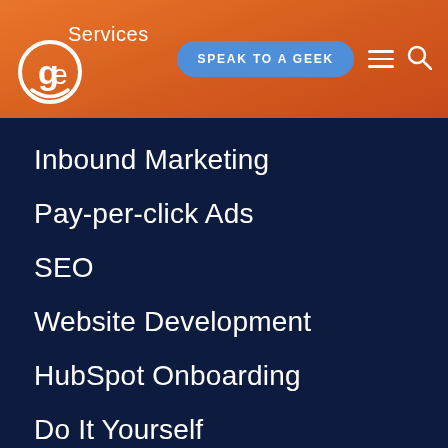ge Services — SPEAK TO A GEEK
Inbound Marketing
Pay-per-click Ads
SEO
Website Development
HubSpot Onboarding
Do It Yourself